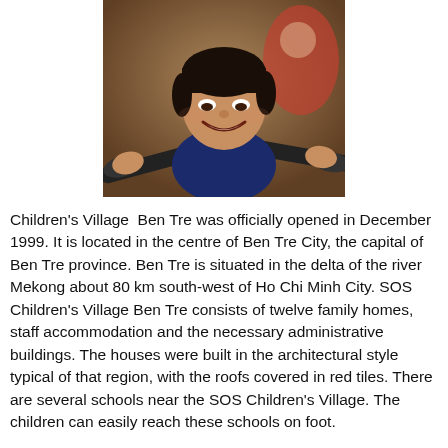[Figure (photo): A smiling young boy holding bicycle handlebars, with another person visible in the background.]
Children's Village  Ben Tre was officially opened in December 1999. It is located in the centre of Ben Tre City, the capital of Ben Tre province. Ben Tre is situated in the delta of the river Mekong about 80 km south-west of Ho Chi Minh City. SOS Children's Village Ben Tre consists of twelve family homes, staff accommodation and the necessary administrative buildings. The houses were built in the architectural style typical of that region, with the roofs covered in red tiles. There are several schools near the SOS Children's Village. The children can easily reach these schools on foot.
SOS Children's Village Ben Tre has its own SOS Kindergarten and an SOS Hermann Gmeiner School, both of which are open to children from the neighbourhood. At the kindergarten,